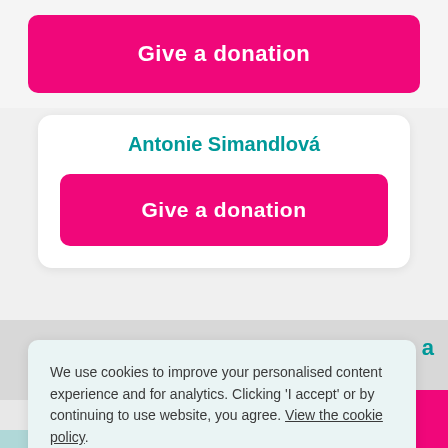[Figure (screenshot): Pink 'Give a donation' button at the top of the page on a light gray background]
Antonie Simandlová
[Figure (screenshot): Pink 'Give a donation' button inside a white card]
We use cookies to improve your personalised content experience and for analytics. Clicking 'I accept' or by continuing to use website, you agree. View the cookie policy.
[Figure (screenshot): 'I accept' button with pink border on light blue cookie consent banner]